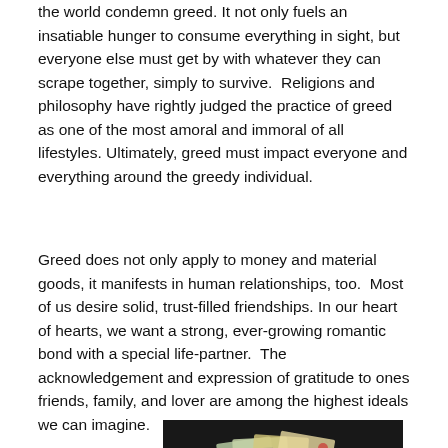the world condemn greed. It not only fuels an insatiable hunger to consume everything in sight, but everyone else must get by with whatever they can scrape together, simply to survive. Religions and philosophy have rightly judged the practice of greed as one of the most amoral and immoral of all lifestyles. Ultimately, greed must impact everyone and everything around the greedy individual.
Greed does not only apply to money and material goods, it manifests in human relationships, too. Most of us desire solid, trust-filled friendships. In our heart of hearts, we want a strong, ever-growing romantic bond with a special life-partner. The acknowledgement and expression of gratitude to ones friends, family, and lover are among the highest ideals we can imagine.
[Figure (photo): A photo showing hands holding paper money/banknotes against a dark background]